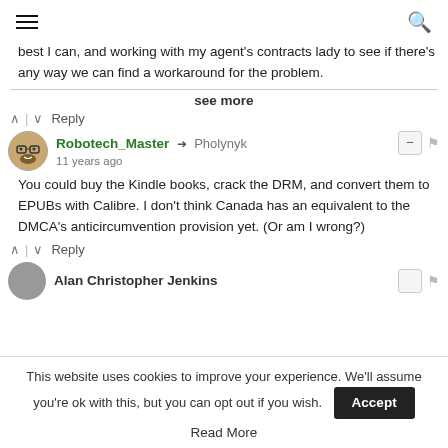hamburger menu | search icon
best I can, and working with my agent's contracts lady to see if there's any way we can find a workaround for the problem.
see more
^ | v Reply
Robotech_Master → Pholynyk
11 years ago
You could buy the Kindle books, crack the DRM, and convert them to EPUBs with Calibre. I don't think Canada has an equivalent to the DMCA's anticircumvention provision yet. (Or am I wrong?)
^ | v Reply
Alan Christopher Jenkins
This website uses cookies to improve your experience. We'll assume you're ok with this, but you can opt out if you wish.
Accept
Read More